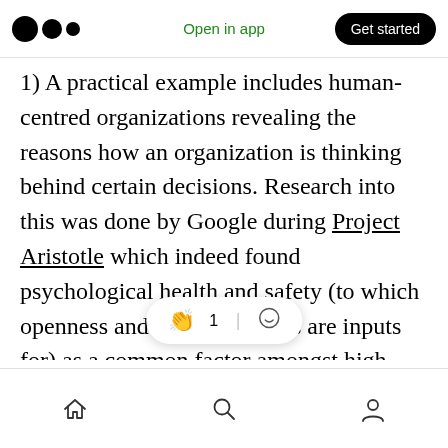Open in app | Get started
1) A practical example includes human-centred organizations revealing the reasons how an organization is thinking behind certain decisions. Research into this was done by Google during Project Aristotle which indeed found psychological health and safety (to which openness and trustworthiness are inputs for) as a common factor amongst high performing teams In addition, trust within organizations and therefore the positive presence of oxytocin can be satisfied through the acronym TACTILE as told in Conscious
Home | Search | Profile